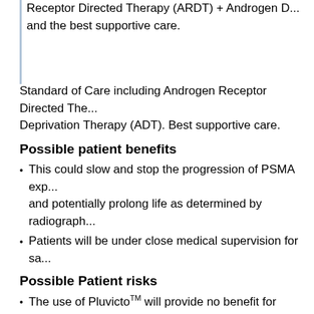Receptor Directed Therapy (ARDT) + Androgen D... and the best supportive care.
Standard of Care including Androgen Receptor Directed The... Deprivation Therapy (ADT). Best supportive care.
Possible patient benefits
This could slow and stop the progression of PSMA exp... and potentially prolong life as determined by radiograph...
Patients will be under close medical supervision for sa...
Possible Patient risks
The use of PluvictoTM will provide no benefit for preve... these patients.
The use of PluvictoTM may also cause side effects
Clinical Trial Site
Trial site can be found here
Organization: Novartis
If you are interested in this trial, review the following:
Clinicaltrials.gov Identifier: NCT04720157
Use the "clinical trials glossary" and "diction...